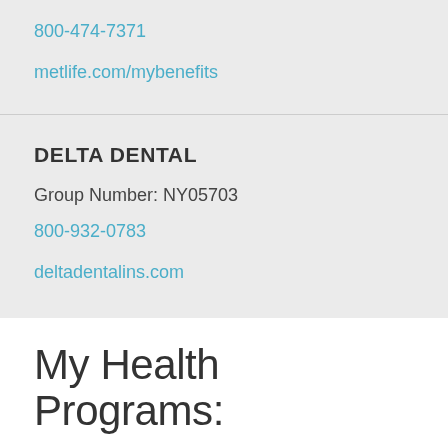800-474-7371
metlife.com/mybenefits
DELTA DENTAL
Group Number: NY05703
800-932-0783
deltadentalins.com
My Health Programs: